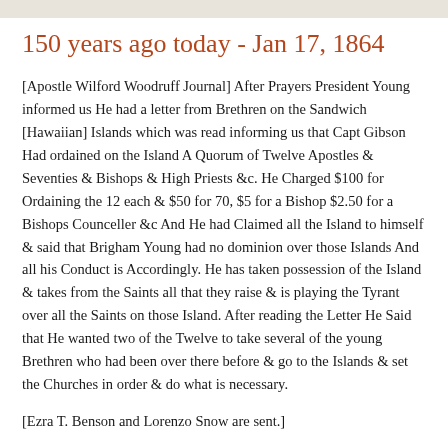150 years ago today - Jan 17, 1864
[Apostle Wilford Woodruff Journal] After Prayers President Young informed us He had a letter from Brethren on the Sandwich [Hawaiian] Islands which was read informing us that Capt Gibson Had ordained on the Island A Quorum of Twelve Apostles & Seventies & Bishops & High Priests &c. He Charged $100 for Ordaining the 12 each & $50 for 70, $5 for a Bishop $2.50 for a Bishops Counceller &c And He had Claimed all the Island to himself & said that Brigham Young had no dominion over those Islands And all his Conduct is Accordingly. He has taken possession of the Island & takes from the Saints all that they raise & is playing the Tyrant over all the Saints on those Island. After reading the Letter He Said that He wanted two of the Twelve to take several of the young Brethren who had been over there before & go to the Islands & set the Churches in order & do what is necessary.
[Ezra T. Benson and Lorenzo Snow are sent.]